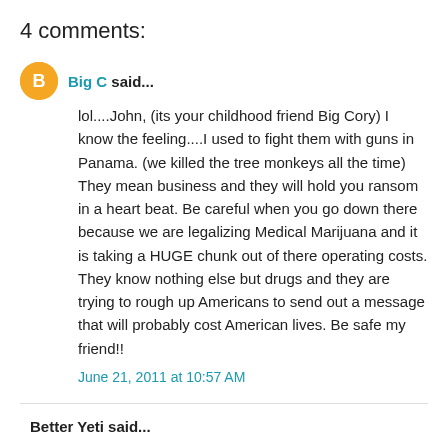4 comments:
Big C said...
lol....John, (its your childhood friend Big Cory) I know the feeling....I used to fight them with guns in Panama. (we killed the tree monkeys all the time) They mean business and they will hold you ransom in a heart beat. Be careful when you go down there because we are legalizing Medical Marijuana and it is taking a HUGE chunk out of there operating costs. They know nothing else but drugs and they are trying to rough up Americans to send out a message that will probably cost American lives. Be safe my friend!!
June 21, 2011 at 10:57 AM
Better Yeti said...
So I'm just sitting here hitting on my browser... no part III, and you're scaring me. Especially the reference to a Torture Machine. I'm just sitting here marinating in cortisol and anxiety.